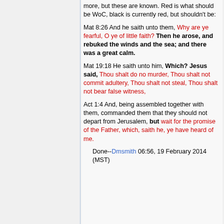more, but these are known. Red is what should be WoC, black is currently red, but shouldn't be:
Mat 8:26 And he saith unto them, Why are ye fearful, O ye of little faith? Then he arose, and rebuked the winds and the sea; and there was a great calm.
Mat 19:18 He saith unto him, Which? Jesus said, Thou shalt do no murder, Thou shalt not commit adultery, Thou shalt not steal, Thou shalt not bear false witness,
Act 1:4 And, being assembled together with them, commanded them that they should not depart from Jerusalem, but wait for the promise of the Father, which, saith he, ye have heard of me.
Done--Dmsmith 06:56, 19 February 2014 (MST)